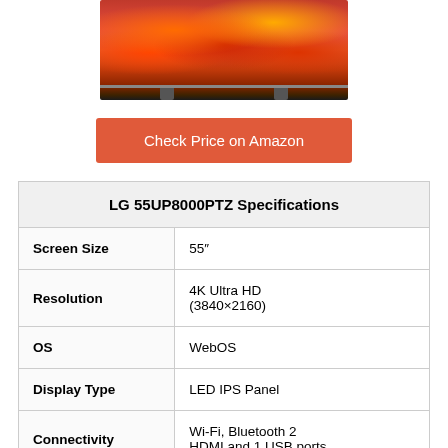[Figure (photo): LG TV with colorful autumn foliage display on screen, shown with stand]
Check Price on Amazon
| LG 55UP8000PTZ Specifications |
| --- |
| Screen Size | 55″ |
| Resolution | 4K Ultra HD (3840×2160) |
| OS | WebOS |
| Display Type | LED IPS Panel |
| Connectivity | Wi-Fi, Bluetooth 2 HDMI and 1 USB ports |